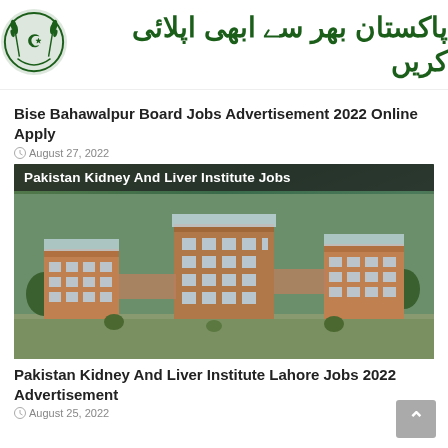[Figure (logo): Pakistan government logo with green emblem and Urdu text reading 'Pakistan bhar se abhi apply karein']
Bise Bahawalpur Board Jobs Advertisement 2022 Online Apply
August 27, 2022
[Figure (photo): Aerial rendering of Pakistan Kidney And Liver Institute buildings - modern multi-story glass and brick structures surrounded by greenery]
Pakistan Kidney And Liver Institute Lahore Jobs 2022 Advertisement
August 25, 2022